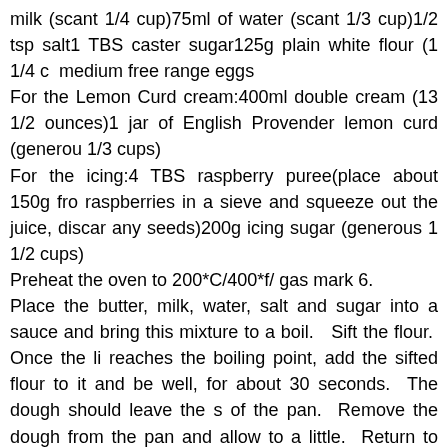milk (scant 1/4 cup)75ml of water (scant 1/3 cup)1/2 tsp salt1 TBS caster sugar125g plain white flour (1 1/4 c) medium free range eggs
For the Lemon Curd cream:400ml double cream (13 1/2 ounces)1 jar of English Provender lemon curd (generous 1/3 cups)
For the icing:4 TBS raspberry puree(place about 150g from raspberries in a sieve and squeeze out the juice, discard any seeds)200g icing sugar (generous 1 1/2 cups)
Preheat the oven to 200*C/400*f/ gas mark 6.
Place the butter, milk, water, salt and sugar into a sauce and bring this mixture to a boil.  Sift the flour.  Once the li reaches the boiling point, add the sifted flour to it and be well, for about 30 seconds.  The dough should leave the s of the pan.  Remove the dough from the pan and allow to a little.  Return to the pan and beat in the eggs, one at a ti Line a large baking tray with some baking parchment.  W the mixture is still warm, pipe or spoon it onto the baking into 12 long lines.  Place the tray into the heated oven.